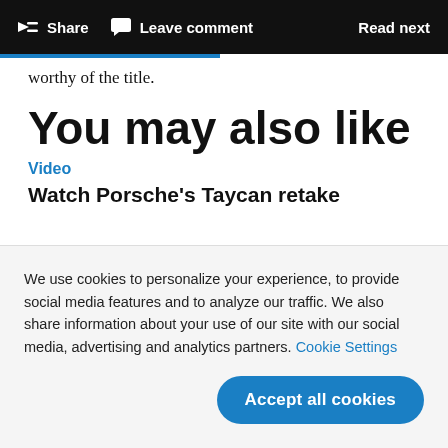Share  Leave comment  Read next
worthy of the title.
You may also like
Video
Watch Porsche's Taycan retake
We use cookies to personalize your experience, to provide social media features and to analyze our traffic. We also share information about your use of our site with our social media, advertising and analytics partners. Cookie Settings
Accept all cookies